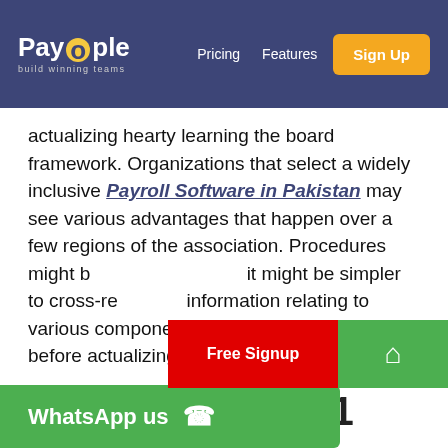PayPeople – build winning teams | Pricing | Features | Sign Up
actualizing hearty learning the board framework. Organizations that select a widely inclusive Payroll Software in Pakistan may see various advantages that happen over a few regions of the association. Procedures might be simpler to cross-reference information relating to various components of HR that were siloed before actualizing a thorough framework.
PeopleqQlik #1 HR Software in